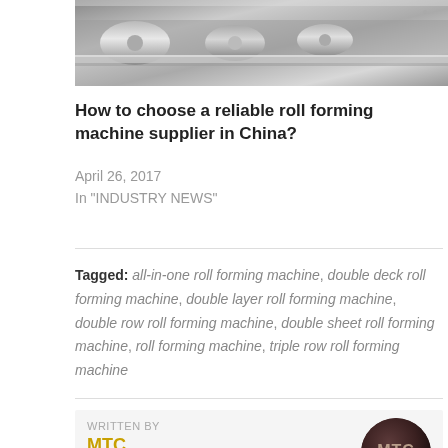[Figure (photo): Partial view of a roll forming machine, black and white/grayscale industrial photograph showing metal rollers and machinery]
How to choose a reliable roll forming machine supplier in China?
April 26, 2017
In "INDUSTRY NEWS"
Tagged: all-in-one roll forming machine, double deck roll forming machine, double layer roll forming machine, double row roll forming machine, double sheet roll forming machine, roll forming machine, triple row roll forming machine
WRITTEN BY
MTC
VIEW ALL POSTS BY MTC